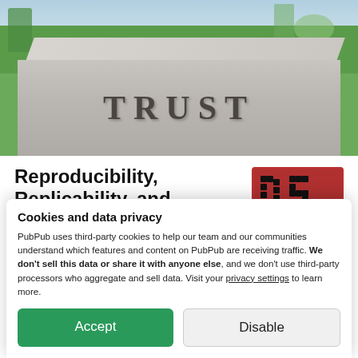[Figure (photo): Photo of a granite stone bench or block with the word TRUST carved into it, set on a green lawn with blurred background trees and a green trash bin visible.]
Reproducibility, Replicability, and Reliability
[Figure (logo): DS logo: red/crimson rectangle with black dotted/pixelated letters DS on it.]
by Xiao-Li Meng
Cookies and data privacy
PubPub uses third-party cookies to help our team and our communities understand which features and content on PubPub are receiving traffic. We don't sell this data or share it with anyone else, and we don't use third-party processors who aggregate and sell data. Visit your privacy settings to learn more.
Accept
Disable